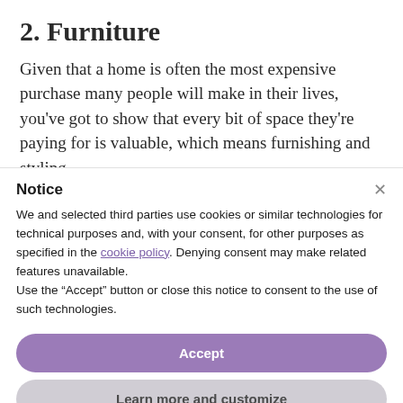2. Furniture
Given that a home is often the most expensive purchase many people will make in their lives, you've got to show that every bit of space they're paying for is valuable, which means furnishing and styling
Notice
We and selected third parties use cookies or similar technologies for technical purposes and, with your consent, for other purposes as specified in the cookie policy. Denying consent may make related features unavailable.
Use the "Accept" button or close this notice to consent to the use of such technologies.
Accept
Learn more and customize